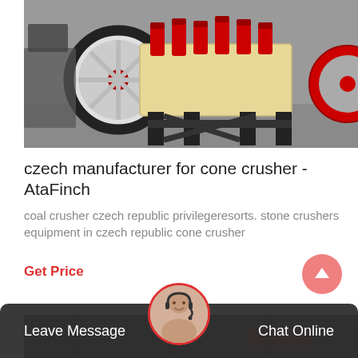[Figure (photo): Industrial cone crusher machine on a black metal frame inside a factory, with a large flywheel visible on the left side and red cylindrical components on top.]
czech manufacturer for cone crusher - AtaFinch
coal crusher czech republic privilegeresorts. stone crushers equipment in czech republic cone crusher
Get Price
[Figure (photo): Partial view of an industrial facility interior.]
Leave Message
Chat Online